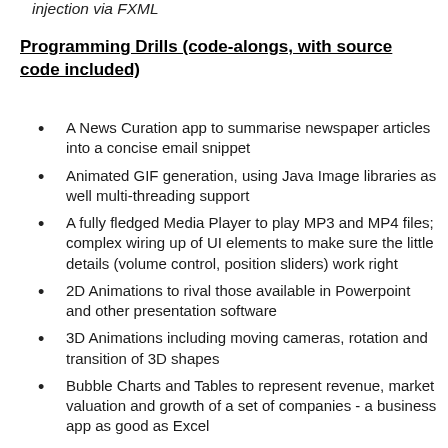injection via FXML
Programming Drills (code-alongs, with source code included)
A News Curation app to summarise newspaper articles into a concise email snippet
Animated GIF generation, using Java Image libraries as well multi-threading support
A fully fledged Media Player to play MP3 and MP4 files; complex wiring up of UI elements to make sure the little details (volume control, position sliders) work right
2D Animations to rival those available in Powerpoint and other presentation software
3D Animations including moving cameras, rotation and transition of 3D shapes
Bubble Charts and Tables to represent revenue, market valuation and growth of a set of companies - a business app as good as Excel
Javascript and CSS examples that show how